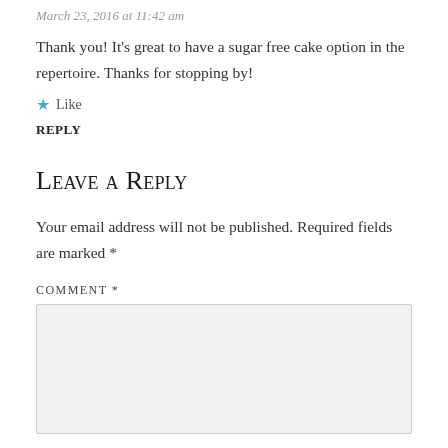March 23, 2016 at 11:42 am
Thank you! It's great to have a sugar free cake option in the repertoire. Thanks for stopping by!
★ Like
REPLY
Leave a Reply
Your email address will not be published. Required fields are marked *
COMMENT *